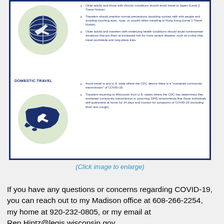[Figure (infographic): COVID-19 travel advisory infographic with globe/airplane icon and bullet points for international travel, plus US map icon and bullet points for domestic travel, inside a dark blue border.]
(Click image to enlarge)
If you have any questions or concerns regarding COVID-19, you can reach out to my Madison office at 608-266-2254, my home at 920-232-0805, or my email at Rep.Hintz@legis.wisconsin.gov.